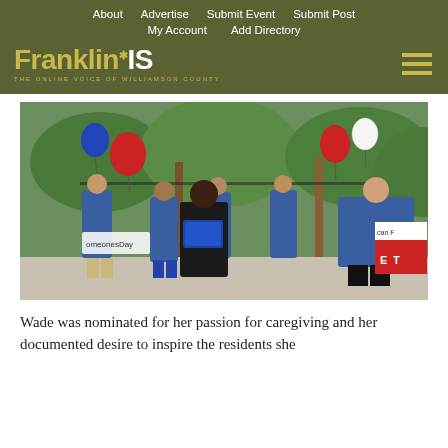About  Advertise  Submit Event  Submit Post  My Account  Add Directory
[Figure (logo): FranklinIS logo — The Online Voice of Williamson County — with hamburger menu icon]
[Figure (photo): Outdoor ceremony photo: a woman in a black outfit holds a blue folder/award, surrounded by people in blue polo shirts. Red, white, and blue balloons. A sign reads 'SomeonesDay'.]
Wade was nominated for her passion for caregiving and her documented desire to inspire the residents she